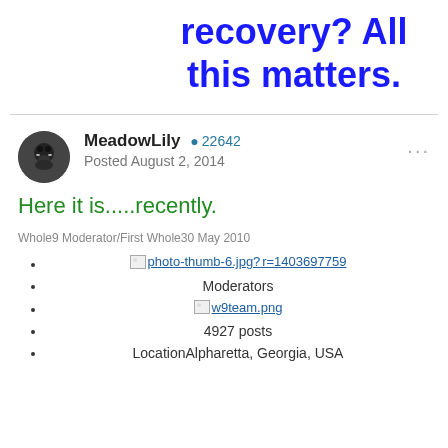recovery? All this matters.
MeadowLily  ● 22642
Posted August 2, 2014
Here it is.....recently.
Whole9 Moderator/First Whole30 May 2010
photo-thumb-6.jpg?r=1403697759
Moderators
w9team.png
4927 posts
LocationAlpharetta, Georgia, USA